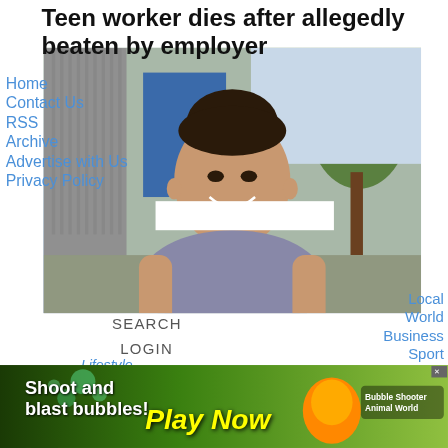Teen worker dies after allegedly beaten by employer
[Figure (photo): Young woman with dark hair in a bun, wearing a grey top, smiling outdoors near a fence and trees. Navigation menu overlay visible.]
Just Released: Dental Implants Are Now Free with Medicare. See Options
Dental Implant | Search Ads
Opinion
[Figure (screenshot): Green bubble-shooter game banner ad reading 'Shoot and blast bubbles! Play Now' with game character and 'Bubble Shooter Animal World' branding.]